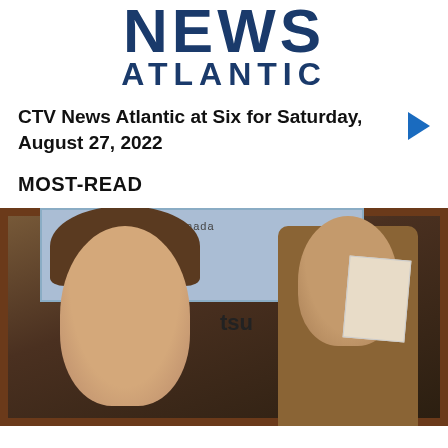NEWS ATLANTIC
[Figure (other): Blue play/video arrow button]
CTV News Atlantic at Six for Saturday, August 27, 2022
MOST-READ
[Figure (photo): Group of people including a woman with brown hair smiling at the camera, viewed through a wooden door frame, with a building sign reading Canada in background]